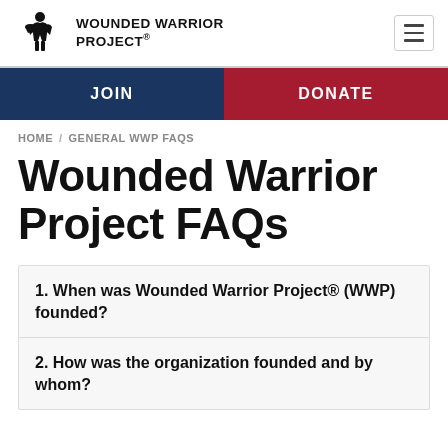WOUNDED WARRIOR PROJECT®
JOIN | DONATE
HOME / GENERAL WWP FAQS
Wounded Warrior Project FAQs
1. When was Wounded Warrior Project® (WWP) founded?
2. How was the organization founded and by whom?